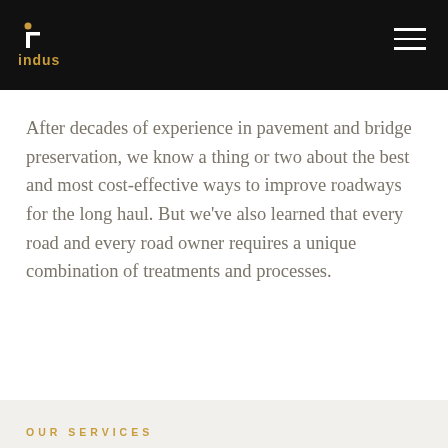indus
After decades of experience in pavement and bridge preservation, we know a thing or two about the best and most cost-effective ways to improve roadways for the long haul. But we've also learned that every road and every road owner requires a unique combination of treatments and processes.
OUR SERVICES
Treatment Areas